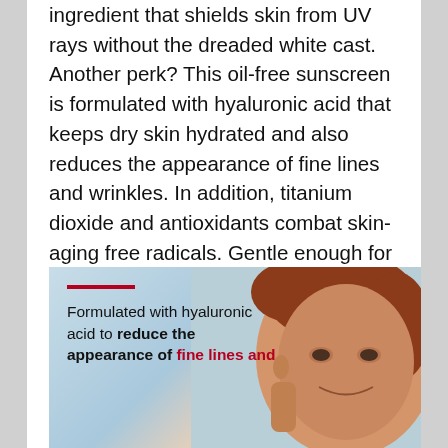ingredient that shields skin from UV rays without the dreaded white cast. Another perk? This oil-free sunscreen is formulated with hyaluronic acid that keeps dry skin hydrated and also reduces the appearance of fine lines and wrinkles. In addition, titanium dioxide and antioxidants combat skin-aging free radicals. Gentle enough for sensitive skin, this mineral sunscreen is a game-changer!
[Figure (photo): Photo of a smiling middle-aged woman with red/auburn short hair against a light blue sky background, with overlaid text: a red horizontal line, then 'Formulated with hyaluronic acid to reduce the appearance of fine lines and' where 'reduce the appearance of' is bold black and 'fine lines and' is bold red.]